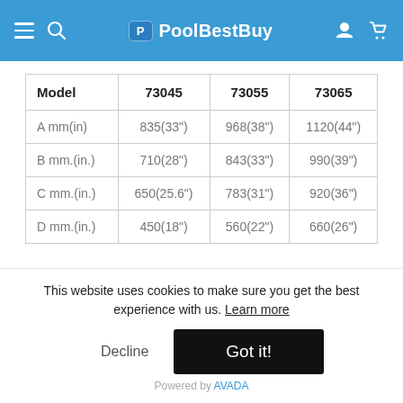PoolBestBuy
| Model | 73045 | 73055 | 73065 |
| --- | --- | --- | --- |
| A mm(in) | 835(33") | 968(38") | 1120(44") |
| B mm.(in.) | 710(28") | 843(33") | 990(39") |
| C mm.(in.) | 650(25.6") | 783(31") | 920(36") |
| D mm.(in.) | 450(18") | 560(22") | 660(26") |
This website uses cookies to make sure you get the best experience with us. Learn more
Decline
Got it!
Powered by AVADA